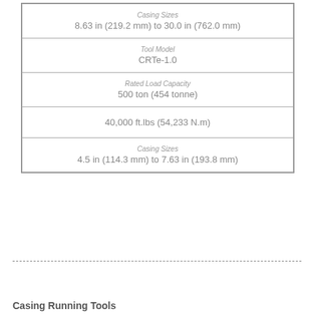| Casing Sizes | 8.63 in (219.2 mm) to 30.0 in (762.0 mm) |
| Tool Model | CRTe-1.0 |
| Rated Load Capacity | 500 ton (454 tonne) |
|  | 40,000 ft.lbs (54,233 N.m) |
| Casing Sizes | 4.5 in (114.3 mm) to 7.63 in (193.8 mm) |
Casing Running Tools